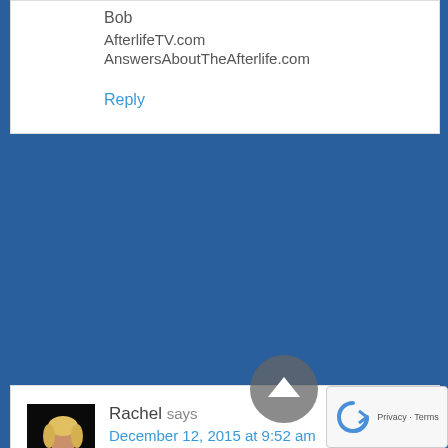Bob
AfterlifeTV.com
AnswersAboutTheAfterlife.com
Reply
Rachel says
December 12, 2015 at 9:52 am
[Figure (photo): Avatar photo of Rachel, a woman with blonde hair in a dark background wearing a pink top]
Great interview!
I've had this done after the sudden death of my beloved husband, Glenn. It really works and I saw my late husband alive and well and we were able to communicate without